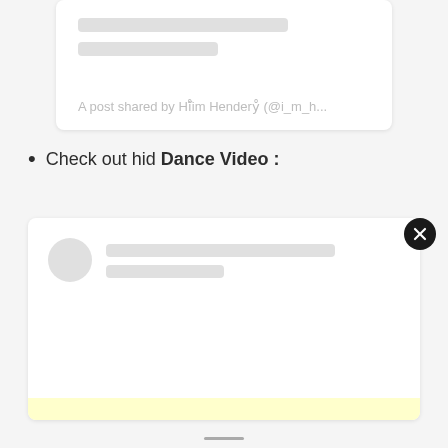[Figure (screenshot): Partially visible embedded social media post card with skeleton loading lines and text 'A post shared by Hiillim Hendery (@i_m_h...']
A post shared by Hiillim Hendery (@i_m_h...
Check out hid Dance Video :
[Figure (screenshot): Embedded social media post card with avatar circle, skeleton loading lines, a close (X) button, and a yellow highlight bar at the bottom]